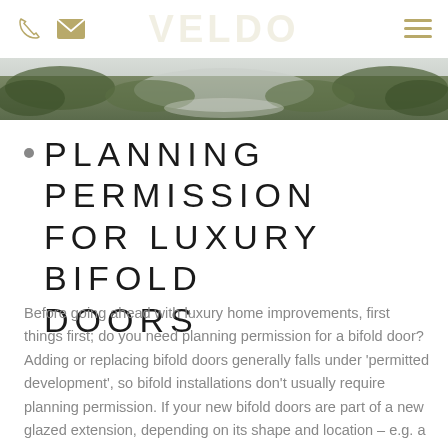Phone icon, Email icon, Logo (VELDO), Menu icon
[Figure (photo): Aerial/overhead photograph of a green landscape with trees and a pale path or road, serving as a hero banner image]
PLANNING PERMISSION FOR LUXURY BIFOLD DOORS
Before going ahead with luxury home improvements, first things first; do you need planning permission for a bifold door? Adding or replacing bifold doors generally falls under 'permitted development', so bifold installations don't usually require planning permission. If your new bifold doors are part of a new glazed extension, depending on its shape and location – e.g. a conservation area – planning permission may